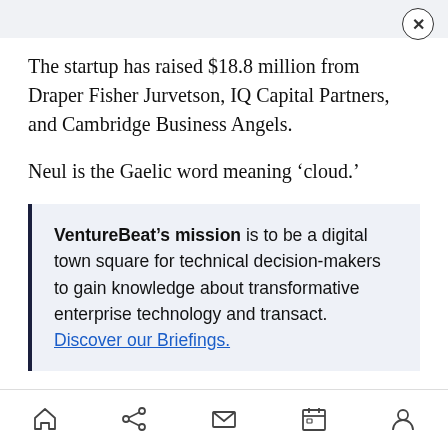The startup has raised $18.8 million from Draper Fisher Jurvetson, IQ Capital Partners, and Cambridge Business Angels.
Neul is the Gaelic word meaning ‘cloud.’
VentureBeat’s mission is to be a digital town square for technical decision-makers to gain knowledge about transformative enterprise technology and transact. Discover our Briefings.
Home Share Mail Calendar Profile